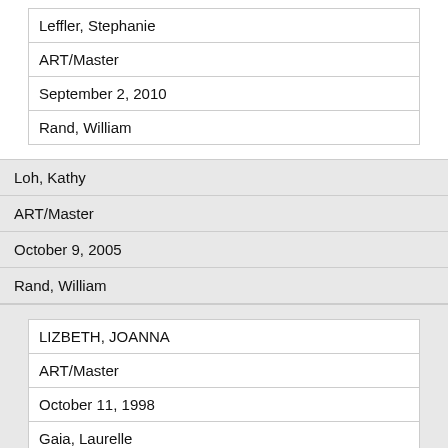| Leffler, Stephanie |
| ART/Master |
| September 2, 2010 |
| Rand, William |
| Loh, Kathy |
| ART/Master |
| October 9, 2005 |
| Rand, William |
| LIZBETH, JOANNA |
| ART/Master |
| October 11, 1998 |
| Gaia, Laurelle |